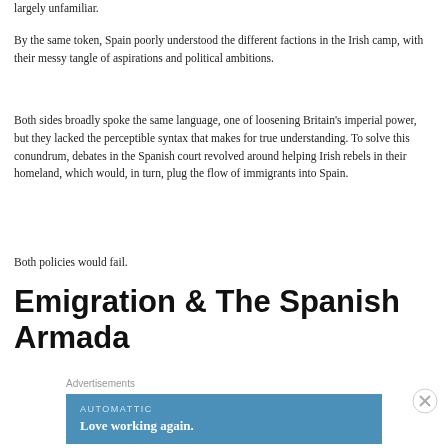largely unfamiliar.
By the same token, Spain poorly understood the different factions in the Irish camp, with their messy tangle of aspirations and political ambitions.
Both sides broadly spoke the same language, one of loosening Britain's imperial power, but they lacked the perceptible syntax that makes for true understanding. To solve this conundrum, debates in the Spanish court revolved around helping Irish rebels in their homeland, which would, in turn, plug the flow of immigrants into Spain.
Both policies would fail.
Emigration & The Spanish Armada
Advertisements
[Figure (other): Advertisement banner for Automattic with text 'AUTOMATTIC' and tagline 'Love working again.' on a blue background]